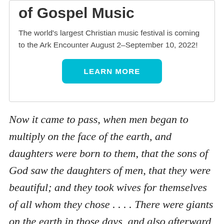40 Days and 40 Nights of Gospel Music
The world's largest Christian music festival is coming to the Ark Encounter August 2–September 10, 2022!
[Figure (other): LEARN MORE button (teal/cyan rounded rectangle button)]
Now it came to pass, when men began to multiply on the face of the earth, and daughters were born to them, that the sons of God saw the daughters of men, that they were beautiful; and they took wives for themselves of all whom they chose . . . . There were giants on the earth in those days, and also afterward, when the sons of God came in to the